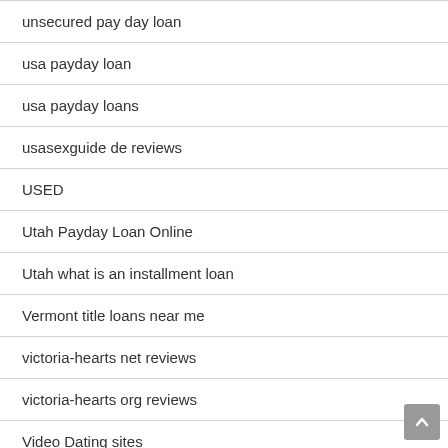unsecured pay day loan
usa payday loan
usa payday loans
usasexguide de reviews
USED
Utah Payday Loan Online
Utah what is an installment loan
Vermont title loans near me
victoria-hearts net reviews
victoria-hearts org reviews
Video Dating sites
vietnamcupid fr sito di incontri